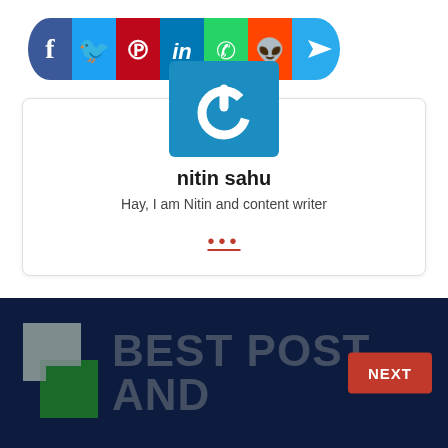[Figure (infographic): Social media share buttons bar: Facebook (dark blue), Twitter (light blue), Pinterest (dark red), LinkedIn (blue), WhatsApp (green), Reddit (orange), Telegram (light blue, rounded right)]
[Figure (illustration): Author avatar: blue square with white power/on button icon]
nitin sahu
Hay, I am Nitin and content writer
...
[Figure (infographic): Dark navy banner with overlapping grey and green squares logo, large text 'BEST POST AND' partially visible, red NEXT button on right]